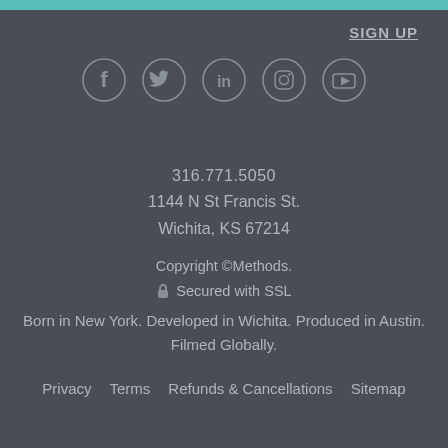SIGN UP
[Figure (illustration): Row of five social media icon circles: Facebook (f), Twitter (bird), LinkedIn (in), Instagram (camera), YouTube (play button)]
316.771.5050
1144 N St Francis St.
Wichita, KS  67214
Copyright ©Methods.
🔒 Secured with SSL
Born in New York. Developed in Wichita. Produced in Austin. Filmed Globally.
Privacy    Terms    Refunds & Cancellations    Sitemap